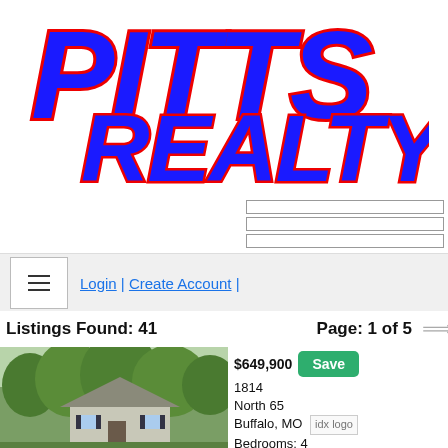[Figure (logo): Pitts Realty logo in large bold italic blue letters with red outline/shadow]
[Figure (screenshot): Three horizontal search input bar fields on the right side]
≡  Login | Create Account |
Listings Found: 41    Page: 1 of 5  →
[Figure (photo): Exterior photo of a house with trees in background]
$649,900
1814 North 65
Buffalo, MO
Bedrooms: 4